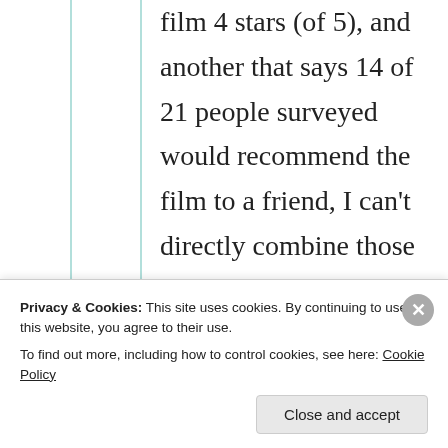film 4 stars (of 5), and another that says 14 of 21 people surveyed would recommend the film to a friend, I can't directly combine those measures. I can convert them both to a percentage (80% for film critic, 66% for public) but that doesn't
Privacy & Cookies: This site uses cookies. By continuing to use this website, you agree to their use. To find out more, including how to control cookies, see here: Cookie Policy